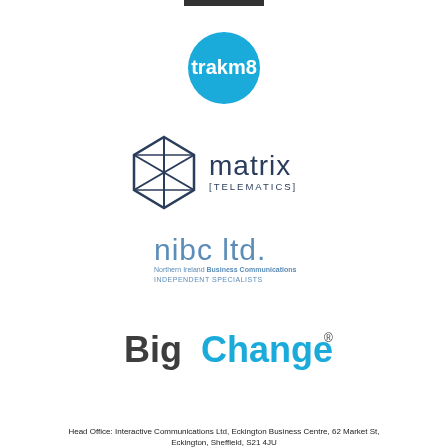[Figure (logo): trakm8 logo - blue circle with white text 'trakm8']
[Figure (logo): matrix [telematics] logo - geometric diamond/cube shape with text 'matrix [TELEMATICS]']
[Figure (logo): nibc ltd. logo - text 'nibc ltd.' with subtitle 'Northern Ireland Business Communications INDEPENDENT SPECIALISTS']
[Figure (logo): BigChange® logo - bold text with 'Big' in dark grey and 'Change' in blue, registered trademark symbol]
Head Office: Interactive Communications Ltd, Eckington Business Centre, 62 Market St, Eckington, Sheffield, S21 4JU